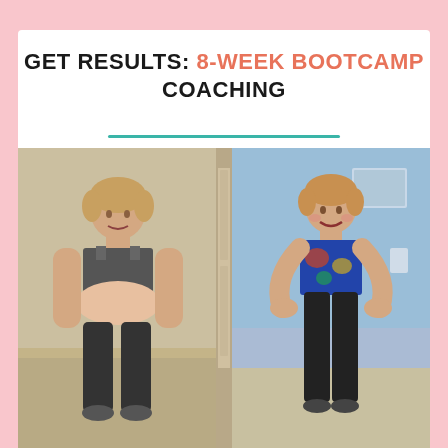GET RESULTS: 8-WEEK BOOTCAMP COACHING
[Figure (photo): Before and after fitness transformation photos side by side. Left photo shows a woman in black sports bra and capri leggings (before). Right photo shows the same woman in a colorful patterned tank top and black capri leggings, smiling with hands on hips (after).]